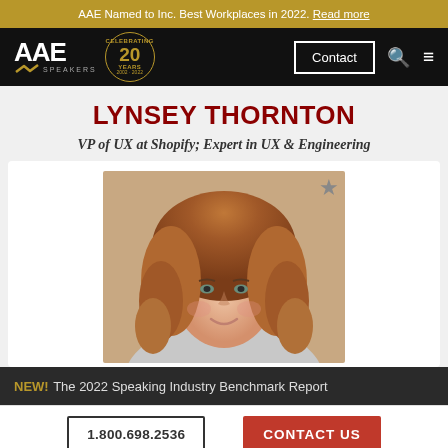AAE Named to Inc. Best Workplaces in 2022. Read more
[Figure (logo): AAE Speakers logo with 20 Years Celebrating badge, Contact button, search and menu icons on black navigation bar]
LYNSEY THORNTON
VP of UX at Shopify; Expert in UX & Engineering
[Figure (photo): Portrait photo of Lynsey Thornton, a woman with curly auburn/red hair, smiling, with a star/bookmark icon in the top right corner]
NEW! The 2022 Speaking Industry Benchmark Report
1.800.698.2536   CONTACT US